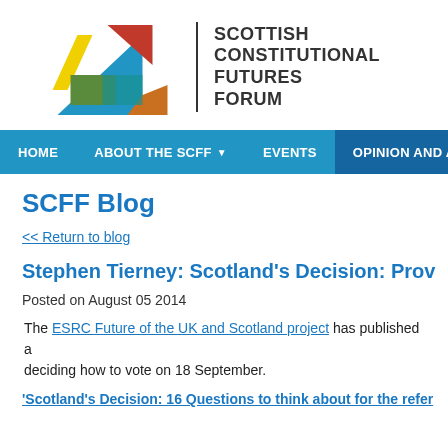[Figure (logo): Scottish Constitutional Futures Forum logo with geometric abstract shapes (blue triangle, red triangle, yellow parallelogram, green rectangle, orange shape) alongside the text SCOTTISH CONSTITUTIONAL FUTURES FORUM]
HOME   ABOUT THE SCFF ▼   EVENTS   OPINION AND ANALYSIS   R
SCFF Blog
<< Return to blog
Stephen Tierney: Scotland's Decision: Prov
Posted on August 05 2014
The ESRC Future of the UK and Scotland project has published a deciding how to vote on 18 September.
'Scotland's Decision: 16 Questions to think about for the refer